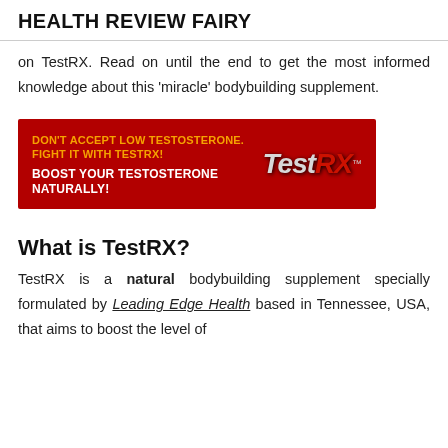HEALTH REVIEW FAIRY
on TestRX. Read on until the end to get the most informed knowledge about this ‘miracle’ bodybuilding supplement.
[Figure (infographic): Red advertisement banner for TestRX supplement. Left side text in gold: 'DON'T ACCEPT LOW TESTOSTERONE. FIGHT IT WITH TESTRX!' and in white bold: 'BOOST YOUR TESTOSTERONE NATURALLY!' Right side shows the TestRX logo in metallic silver and red lettering.]
What is TestRX?
TestRX is a natural bodybuilding supplement specially formulated by Leading Edge Health based in Tennessee, USA, that aims to boost the level of